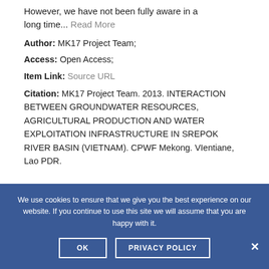However, we have not been fully aware in a long time... Read More
Author: MK17 Project Team;
Access: Open Access;
Item Link: Source URL
Citation: MK17 Project Team. 2013. INTERACTION BETWEEN GROUNDWATER RESOURCES, AGRICULTURAL PRODUCTION AND WATER EXPLOITATION INFRASTRUCTURE IN SREPOK RIVER BASIN (VIETNAM). CPWF Mekong. VIentiane, Lao PDR.
We use cookies to ensure that we give you the best experience on our website. If you continue to use this site we will assume that you are happy with it.
OK   PRIVACY POLICY